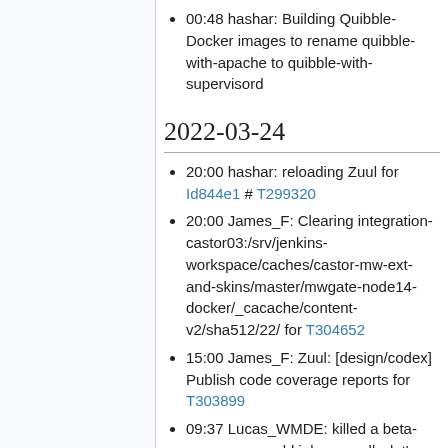00:48 hashar: Building Quibble-Docker images to rename quibble-with-apache to quibble-with-supervisord
2022-03-24
20:00 hashar: reloading Zuul for Id844e1 # T299320
20:00 James_F: Clearing integration-castor03:/srv/jenkins-workspace/caches/castor-mw-ext-and-skins/master/mwgate-node14-docker/_cacache/content-v2/sha512/22/ for T304652
15:00 James_F: Zuul: [design/codex] Publish code coverage reports for T303899
09:37 Lucas_WMDE: killed a beta-scap-sync-world job manually, let's see if that helps getting beta updates